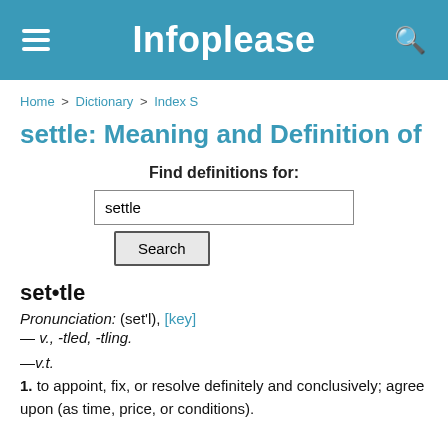Infoplease
Home > Dictionary > Index S
settle: Meaning and Definition of
Find definitions for:
settle [search input]
Search [button]
set•tle
Pronunciation: (set'l), [key]
— v., -tled, -tling.
—v.t.
1. to appoint, fix, or resolve definitely and conclusively; agree upon (as time, price, or conditions).